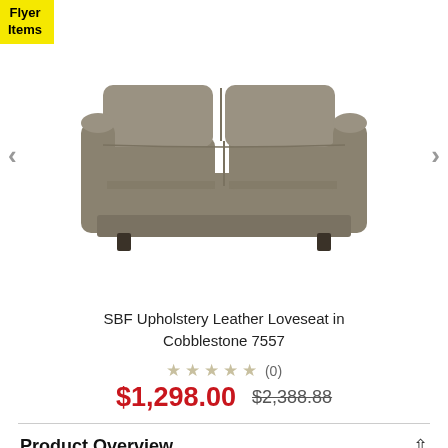Flyer Items
[Figure (photo): A taupe/cobblestone colored leather loveseat with rolled arms and two seat cushions, shown on a white background.]
SBF Upholstery Leather Loveseat in Cobblestone 7557
★★★★★ (0)
$1,298.00  $2,388.88
Product Overview